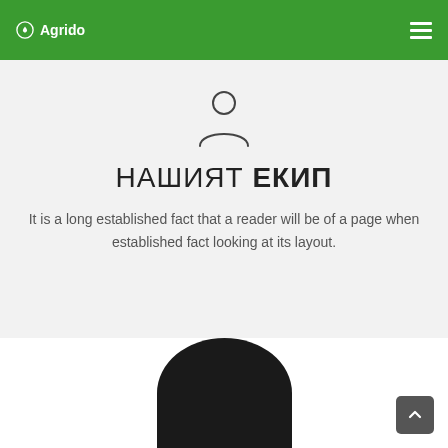Agrido
[Figure (illustration): Person/user silhouette icon outline]
НАШИЯТ ЕКИП
It is a long established fact that a reader will be of a page when established fact looking at its layout.
[Figure (photo): Dark circular avatar/profile photo, top half visible at bottom of card]